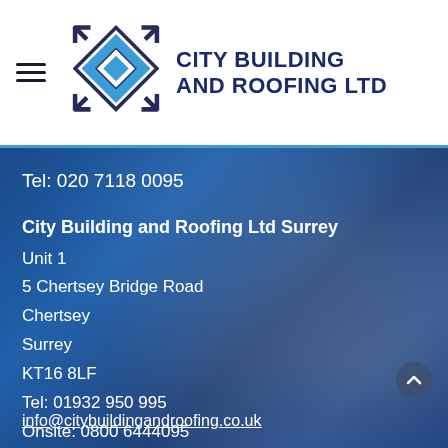[Figure (logo): City Building and Roofing Ltd logo — blue diamond/chevron geometric mark with company name in dark navy bold text]
Tel: 020 7118 0095
City Building and Roofing Ltd Surrey
Unit 1
5 Chertsey Bridge Road
Chertsey
Surrey
KT16 8LF
Tel: 01932 950 995
Onsite: 0800 6444095
info@citybuildingandroofing.co.uk